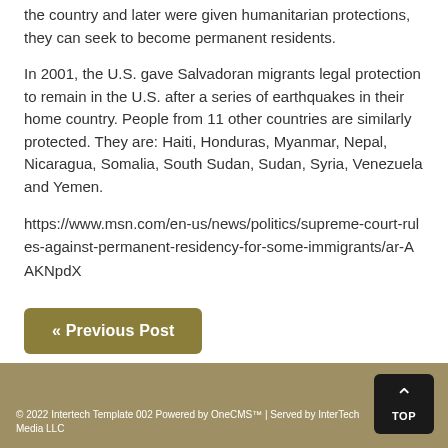the country and later were given humanitarian protections, they can seek to become permanent residents.
In 2001, the U.S. gave Salvadoran migrants legal protection to remain in the U.S. after a series of earthquakes in their home country. People from 11 other countries are similarly protected. They are: Haiti, Honduras, Myanmar, Nepal, Nicaragua, Somalia, South Sudan, Sudan, Syria, Venezuela and Yemen.
https://www.msn.com/en-us/news/politics/supreme-court-rules-against-permanent-residency-for-some-immigrants/ar-AAKNpdX
« Previous Post
© 2022 Intertech Template 002 Powered by OneCMS™ | Served by InterTech Media LLC